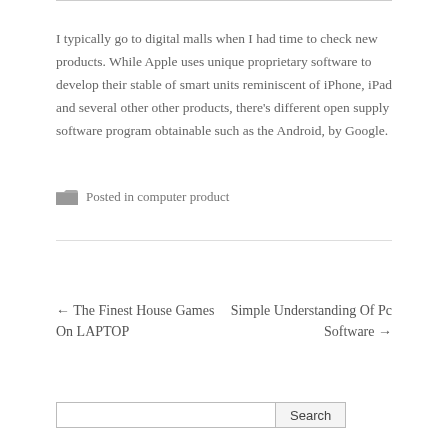I typically go to digital malls when I had time to check new products. While Apple uses unique proprietary software to develop their stable of smart units reminiscent of iPhone, iPad and several other other products, there's different open supply software program obtainable such as the Android, by Google.
Posted in computer product
← The Finest House Games On LAPTOP
Simple Understanding Of Pc Software →